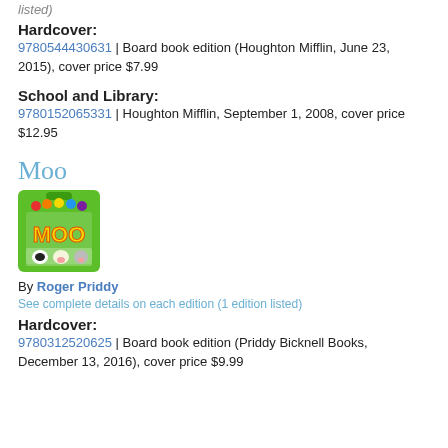listed)
Hardcover:
9780544430631 | Board book edition (Houghton Mifflin, June 23, 2015), cover price $7.99
School and Library:
9780152065331 | Houghton Mifflin, September 1, 2008, cover price $12.95
Moo
[Figure (photo): Book cover for Moo by Roger Priddy, green background with animal faces and the word MOO]
By Roger Priddy
See complete details on each edition (1 edition listed)
Hardcover:
9780312520625 | Board book edition (Priddy Bicknell Books, December 13, 2016), cover price $9.99